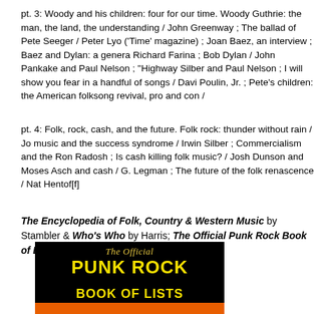pt. 3: Woody and his children: four for our time. Woody Guthrie: the man, the land, the understanding / John Greenway ; The ballad of Pete Seeger / Peter Lyo ('Time' magazine) ; Joan Baez, an interview ; Baez and Dylan: a genera Richard Farina ; Bob Dylan / John Pankake and Paul Nelson ; "Highway Silber and Paul Nelson ; I will show you fear in a handful of songs / Davi Poulin, Jr. ; Pete's children: the American folksong revival, pro and con /
pt. 4: Folk, rock, cash, and the future. Folk rock: thunder without rain / Jo music and the success syndrome / Irwin Silber ; Commercialism and the Ron Radosh ; Is cash killing folk music? / Josh Dunson and Moses Asch and cash / G. Legman ; The future of the folk renascence / Nat Hentof[f]
The Encyclopedia of Folk, Country & Western Music by Stambler & Who's Who by Harris; The Official Punk Rock Book of Lists ed. Wal
[Figure (photo): Book cover: The Official Punk Rock Book of Lists — black background with yellow bold text reading 'PUNK ROCK BOOK OF LISTS', script text 'The Official' at top, orange strip at bottom with illustrated punk characters.]